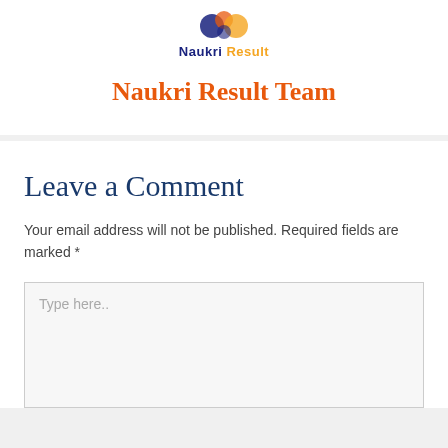[Figure (logo): Naukri Result logo with icon above and text 'Naukri Result' below]
Naukri Result Team
Leave a Comment
Your email address will not be published. Required fields are marked *